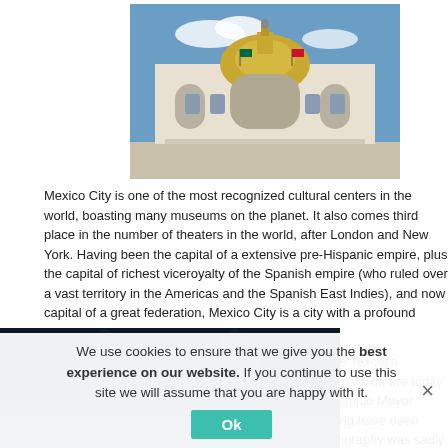[Figure (photo): Ornate neoclassical building (Palacio de Bellas Artes, Mexico City) with golden dome, white facade, under blue sky]
Mexico City is one of the most recognized cultural centers in the world, boasting many museums on the planet. It also comes third place in the number of theaters in the world, after London and New York. Having been the capital of a extensive pre-Hispanic empire, plus the capital of richest viceroyalty of the Spanish empire (who ruled over a vast territory in the Americas and the Spanish East Indies), and now capital of a great federation, Mexico City is a city with a profound history of artistic expression.
The early inhabitants of the settlements around Lake Texcoco produced many works of fine craftsmanship, some of which are today displayed at the world renowned National Anthropology Museum and at the Templo Mayor museum. Many pieces of pottery and stone-engraving have been found, although the majority of the Amerindian iconography was sadly destroyed during the Spanish Conquest.
We use cookies to ensure that we give you the best experience on our website. If you continue to use this site we will assume that you are happy with it.
[Figure (photo): Dark nighttime or dusk photo of Mexico City cathedral/historic building]